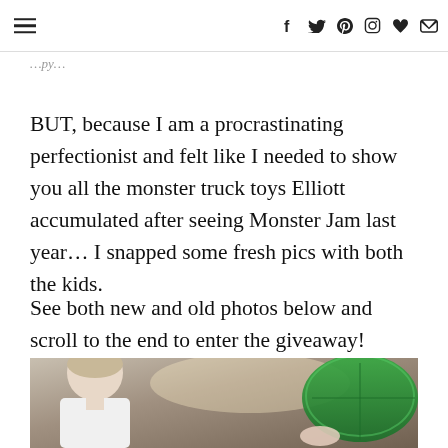☰  f  🐦  𝕡  ⊙  ♥  ✉
…py…
BUT, because I am a procrastinating perfectionist and felt like I needed to show you all the monster truck toys Elliott accumulated after seeing Monster Jam last year… I snapped some fresh pics with both the kids.
See both new and old photos below and scroll to the end to enter the giveaway!
[Figure (photo): A child (boy) viewed from the side leaning over a wooden table with a green plastic tray visible on the right side.]